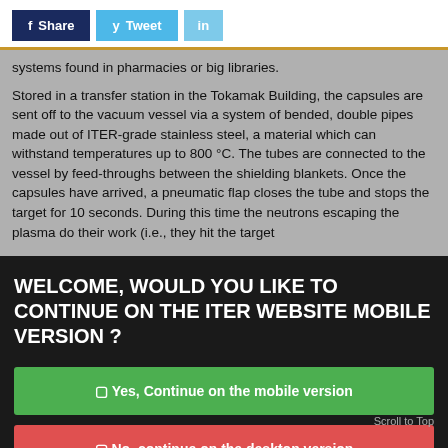[Figure (screenshot): Social share buttons: f Share (dark blue), y Tweet (light blue), in (light blue)]
systems found in pharmacies or big libraries.
Stored in a transfer station in the Tokamak Building, the capsules are sent off to the vacuum vessel via a system of bended, double pipes made out of ITER-grade stainless steel, a material which can withstand temperatures up to 800 °C. The tubes are connected to the vessel by feed-throughs between the shielding blankets. Once the capsules have arrived, a pneumatic flap closes the tube and stops the target for 10 seconds. During this time the neutrons escaping the plasma do their work (i.e., they hit the target
WELCOME, WOULD YOU LIKE TO CONTINUE ON THE ITER WEBSITE MOBILE VERSION ?
☐ Yes, Continue on the mobile version
☐ No, continue on the desktop version